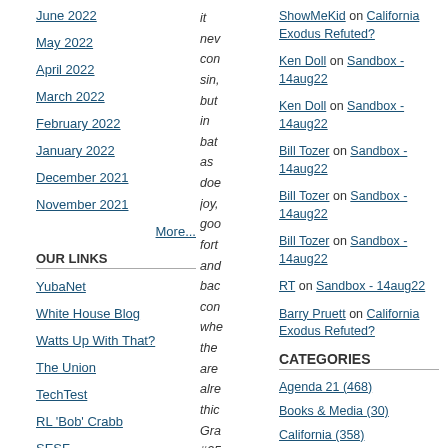June 2022
May 2022
April 2022
March 2022
February 2022
January 2022
December 2021
November 2021
More...
OUR LINKS
YubaNet
White House Blog
Watts Up With That?
The Union
TechTest
RL 'Bob' Crabb
SESF
it nev con sin, but in bat as doe joy, goo fort and bac con whe the are alre thic Gra #25
ShowMeKid on California Exodus Refuted?
Ken Doll on Sandbox - 14aug22
Ken Doll on Sandbox - 14aug22
Bill Tozer on Sandbox - 14aug22
Bill Tozer on Sandbox - 14aug22
Bill Tozer on Sandbox - 14aug22
RT on Sandbox - 14aug22
Barry Pruett on California Exodus Refuted?
CATEGORIES
Agenda 21 (468)
Books & Media (30)
California (358)
Comment Sandbox (413)
Critical Thinking & Numeracy (1232)
Culture Comments (722)
Current Affairs (1744)